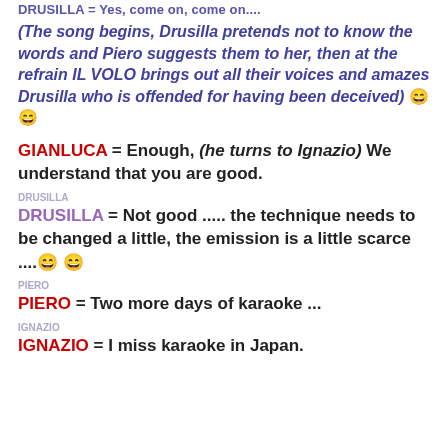DRUSILLA = Yes, come on, come on....
(The song begins, Drusilla pretends not to know the words and Piero suggests them to her, then at the refrain IL VOLO brings out all their voices and amazes Drusilla who is offended for having been deceived) 😄 😄
GIANLUCA = Enough, (he turns to Ignazio) We understand that you are good.
DRUSILLA = Not good ..... the technique needs to be changed a little, the emission is a little scarce ....😄 😄
PIERO = Two more days of karaoke ...
IGNAZIO = I miss karaoke in Japan.